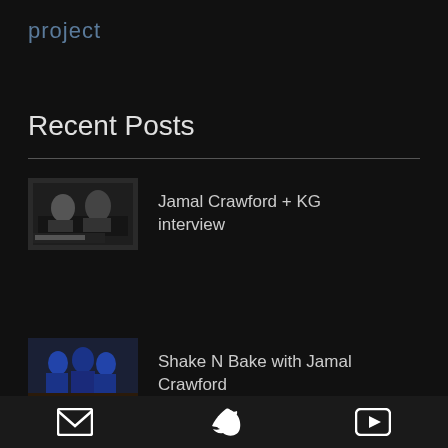project
Recent Posts
Jamal Crawford + KG interview
Shake N Bake with Jamal Crawford
Crawford With the Nice